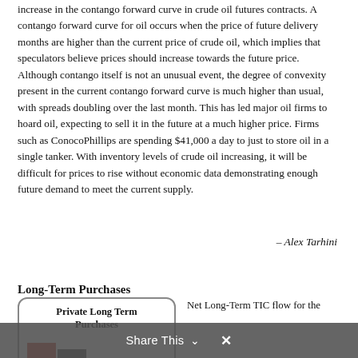increase in the contango forward curve in crude oil futures contracts. A contango forward curve for oil occurs when the price of future delivery months are higher than the current price of crude oil, which implies that speculators believe prices should increase towards the future price. Although contango itself is not an unusual event, the degree of convexity present in the current contango forward curve is much higher than usual, with spreads doubling over the last month. This has led major oil firms to hoard oil, expecting to sell it in the future at a much higher price. Firms such as ConocoPhillips are spending $41,000 a day to just to store oil in a single tanker. With inventory levels of crude oil increasing, it will be difficult for prices to rise without economic data demonstrating enough future demand to meet the current supply.
– Alex Tarhini
Long-Term Purchases
[Figure (other): Box with rounded border labeled 'Private Long Term Purchases' with a small bar chart placeholder below the title showing red and dark bars.]
Net Long-Term TIC flow for the